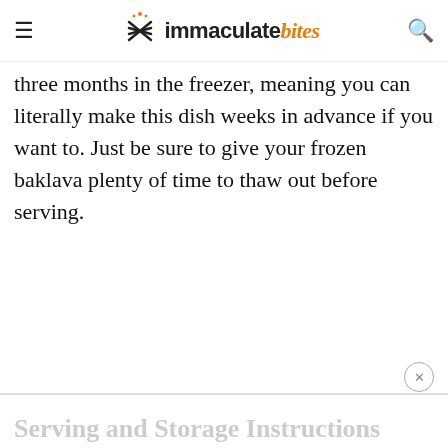immaculate bites
three months in the freezer, meaning you can literally make this dish weeks in advance if you want to. Just be sure to give your frozen baklava plenty of time to thaw out before serving.
Serving and Storage Instructions